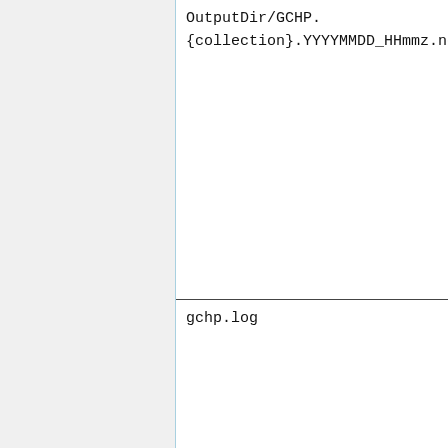OutputDir/GCHP.
{collection}.YYYYMMDD_HHmmz.nc4
gchp.log